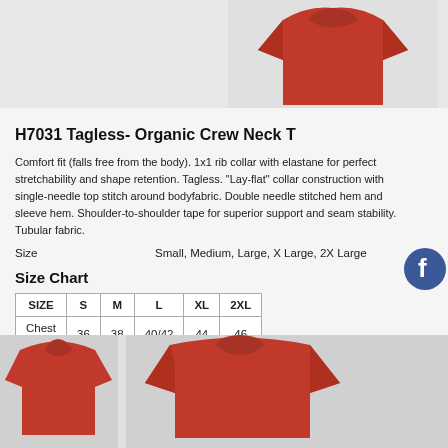[Figure (photo): Red crew neck T-shirt product photo (top/back view) on grey background]
H7031 Tagless- Organic Crew Neck T
Comfort fit (falls free from the body). 1x1 rib collar with elastane for perfect stretchability and shape retention. Tagless. “Lay-flat” collar construction with single-needle top stitch around bodyfabric. Double needle stitched hem and sleeve hem. Shoulder-to-shoulder tape for superior support and seam stability. Tubular fabric.
Size    Small, Medium, Large, X Large, 2X Large
Size Chart
| SIZE | S | M | L | XL | 2XL |
| --- | --- | --- | --- | --- | --- |
| Chest (to fit) | 36 | 38 | 40/42 | 44 | 46 |
[Figure (photo): Two red crew neck T-shirts shown front view on grey background]